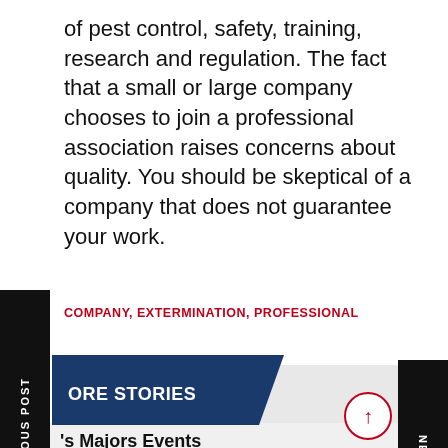of pest control, safety, training, research and regulation. The fact that a small or large company chooses to join a professional association raises concerns about quality. You should be skeptical of a company that does not guarantee your work.
COMPANY, EXTERMINATION, PROFESSIONAL
MORE STORIES
's Majors Events
ADMIN  AUGUST 8, 2022
American football is a sport that is enjoyed by millions of people across the United States. It is a game...